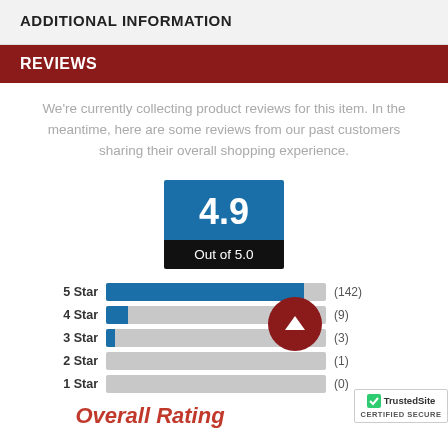ADDITIONAL INFORMATION
REVIEWS
We're currently collecting product reviews for this item. In the meantime, here are some reviews from our past customers sharing their overall shopping experience.
[Figure (other): Rating score box showing 4.9 out of 5.0 on a blue/black background]
[Figure (bar-chart): Star Rating Distribution]
Overall Rating